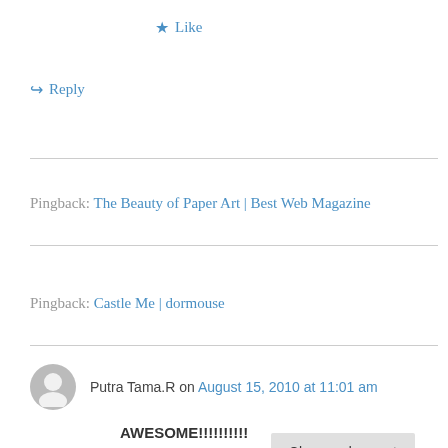★ Like
↪ Reply
Pingback: The Beauty of Paper Art | Best Web Magazine
Pingback: Castle Me | dormouse
Putra Tama.R on August 15, 2010 at 11:01 am
AWESOME!!!!!!!!!!
Privacy & Cookies: This site uses cookies. By continuing to use this website, you agree to their use.
To find out more, including how to control cookies, see here: Cookie Policy